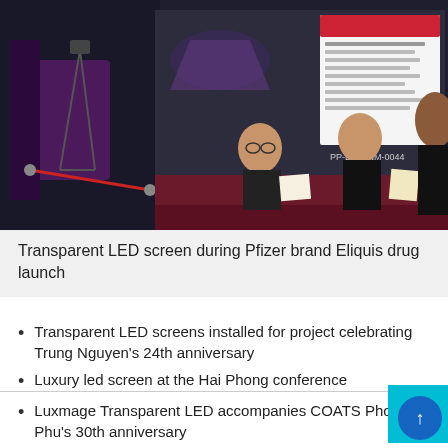[Figure (photo): Three women at a registration desk in front of a transparent LED screen displaying Pfizer Eliquis brand content at a product launch event. The display shows text and medical information. The setting is a conference/event venue with dark decor and lighting equipment.]
Transparent LED screen during Pfizer brand Eliquis drug launch
Transparent LED screens installed for project celebrating Trung Nguyen's 24th anniversary
Luxury led screen at the Hai Phong conference
Luxmage Transparent LED accompanies COATS Phong Phu's 30th anniversary
Transparent led screen at Gamuda Sales Gallery
Led screen at Vincom Mega mall Time City